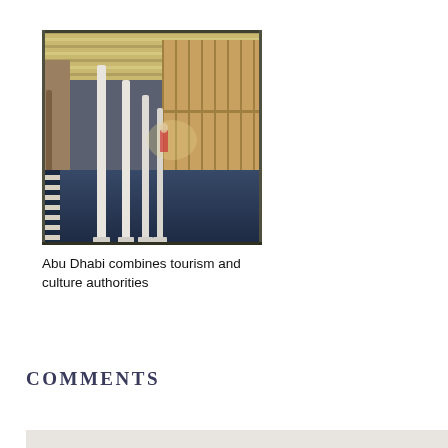[Figure (photo): Interior corridor of a ship or building with a blue floor, white columns, wooden paneling on the right side, and a metallic ceiling with strip lighting.]
Abu Dhabi combines tourism and culture authorities
COMMENTS